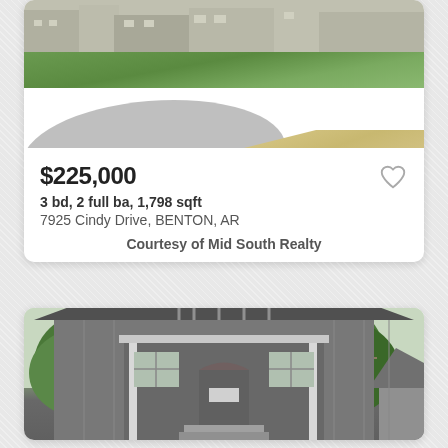[Figure (photo): Exterior photo of property showing lawn and driveway, partial view cropped at top]
$225,000
3 bd, 2 full ba, 1,798 sqft
7925 Cindy Drive, BENTON, AR
Courtesy of Mid South Realty
[Figure (photo): Exterior photo of a small gray house with front porch, gable roof, and trees in background]